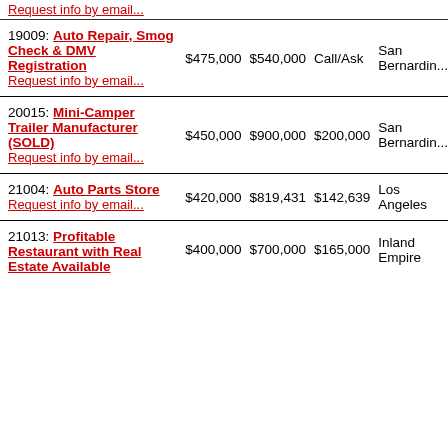| Listing | Price | Revenue | Cash Flow | Location |
| --- | --- | --- | --- | --- |
| 19009: Auto Repair, Smog Check & DMV Registration
Request info by email... | $475,000 | $540,000 | Call/Ask | San Bernardin... |
| 20015: Mini-Camper Trailer Manufacturer (SOLD)
Request info by email... | $450,000 | $900,000 | $200,000 | San Bernardin... |
| 21004: Auto Parts Store
Request info by email... | $420,000 | $819,431 | $142,639 | Los Angeles |
| 21013: Profitable Restaurant with Real Estate Available | $400,000 | $700,000 | $165,000 | Inland Empire |